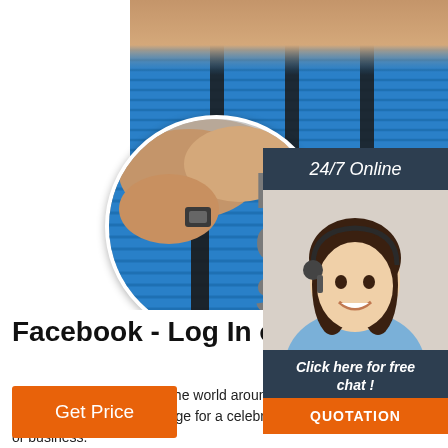[Figure (photo): Blue yoga mat / exercise mat being rolled and strapped with black cinch straps, hands visible rolling the mat. A circular zoom inset highlights the strap buckle detail. Large grey text partially visible reads EAS CINC STR (Easy Cinch Strap).]
24/7 Online
[Figure (photo): Customer service agent - smiling woman with headset, dark hair, blue top, against dark navy background with chat widget overlay.]
Click here for free chat !
QUOTATION
Facebook - Log In or Sign Up
Connect with friends and the world around you on Facebook. Create a Page for a celebrity, band or business.
Get Price
Top